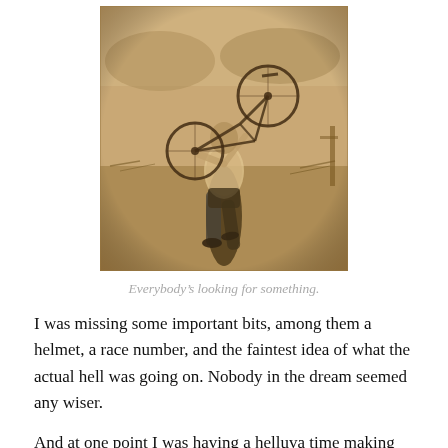[Figure (photo): Sepia-toned photograph of a cyclist carrying a bicycle on their shoulder while running across rough terrain, wearing a cycling kit and helmet, with a field and hills in the background.]
Everybody's looking for something.
I was missing some important bits, among them a helmet, a race number, and the faintest idea of what the actual hell was going on. Nobody in the dream seemed any wiser.
And at one point I was having a helluva time making the bike move at all, which is a familiar feeling to anyone who's ever raced 'cross, but this bordered on the